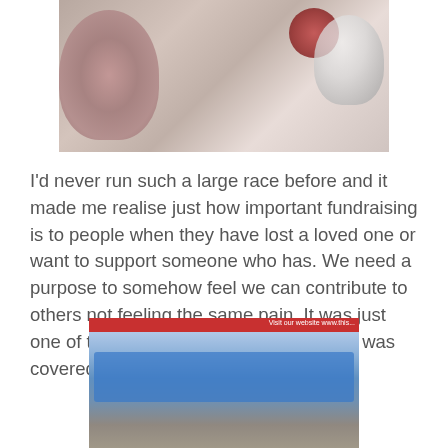[Figure (photo): Photo of race memorabilia including pink roses, a race badge/medal, and a glass bowl on a table]
I'd never run such a large race before and it made me realise just how important fundraising is to people when they have lost a loved one or want to support someone who has. We need a purpose to somehow feel we can contribute to others not feeling the same pain. It was just one of the many stories about Abi which was covered by the local paper.
[Figure (photo): Newspaper clipping showing a group of runners in blue t-shirts with race numbers, with a red newspaper header bar reading 'Visit our website www.this...']